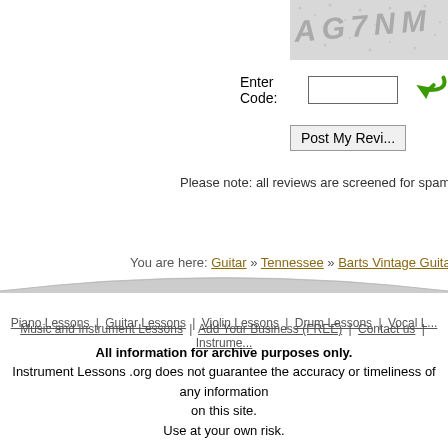[Figure (other): CAPTCHA image with distorted text on grey dotted background]
Enter Code:
Post My Revi...
Please note: all reviews are screened for spam
You are here: Guitar » Tennessee » Barts Vintage Guitar
Piano Lessons | Guitar Lessons | Violin Lessons | Drum Lessons | Vocal L... | Music and Instrument Lessons | Add Your Business (FREE) | Contact us | Instrume...
All information for archive purposes only.
Instrument Lessons .org does not guarantee the accuracy or timeliness of any information on this site.
Use at your own risk.